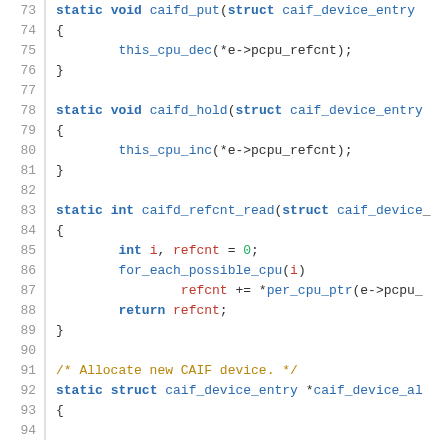Source code snippet showing C functions: caifd_put (line 73-76), caifd_hold (line 78-81), caifd_refcnt_read (line 83-89), comment and start of caif_device_alloc (line 91-93)